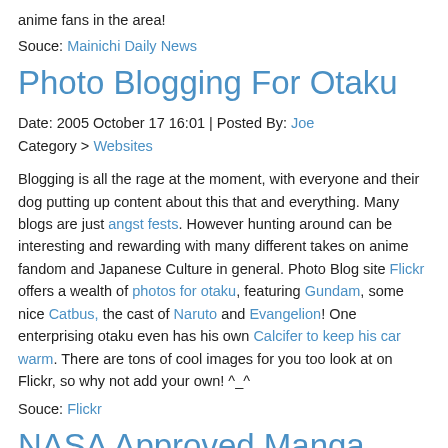anime fans in the area!
Souce: Mainichi Daily News
Photo Blogging For Otaku
Date: 2005 October 17 16:01 | Posted By: Joe
Category > Websites
Blogging is all the rage at the moment, with everyone and their dog putting up content about this that and everything. Many blogs are just angst fests. However hunting around can be interesting and rewarding with many different takes on anime fandom and Japanese Culture in general. Photo Blog site Flickr offers a wealth of photos for otaku, featuring Gundam, some nice Catbus, the cast of Naruto and Evangelion! One enterprising otaku even has his own Calcifer to keep his car warm. There are tons of cool images for you too look at on Flickr, so why not add your own! ^_^
Souce: Flickr
NASA Approved Manga